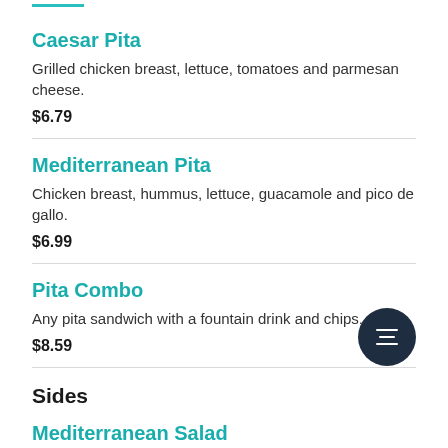Caesar Pita
Grilled chicken breast, lettuce, tomatoes and parmesan cheese.
$6.79
Mediterranean Pita
Chicken breast, hummus, lettuce, guacamole and pico de gallo.
$6.99
Pita Combo
Any pita sandwich with a fountain drink and chips.
$8.59
Sides
Mediterranean Salad